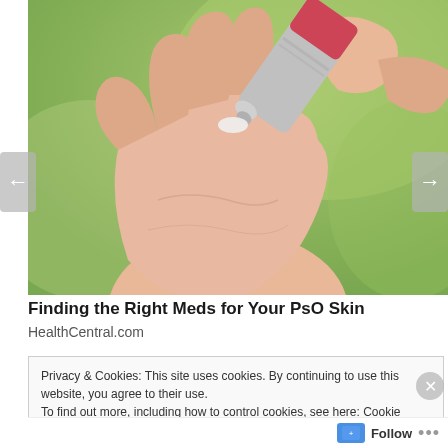[Figure (photo): Close-up photo of a hand with palm open, and another hand holding a cream/ointment tube applying product to fingertip, with green blurred background]
Finding the Right Meds for Your PsO Skin
HealthCentral.com
Privacy & Cookies: This site uses cookies. By continuing to use this website, you agree to their use.
To find out more, including how to control cookies, see here: Cookie Policy
Close and accept
Follow